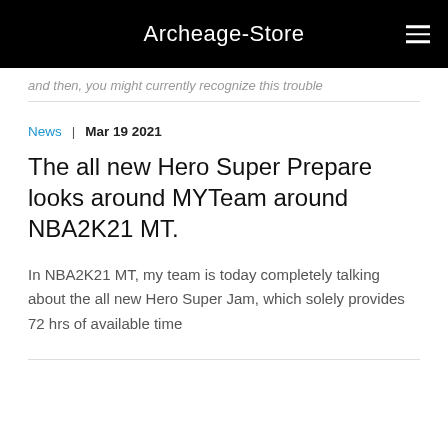Archeage-Store
and then, you might currently recognize this trouble
News  |  Mar 19 2021
The all new Hero Super Prepare looks around MYTeam around NBA2K21 MT.
In NBA2K21 MT, my team is today completely talking about the all new Hero Super Jam, which solely provides 72 hrs of available time